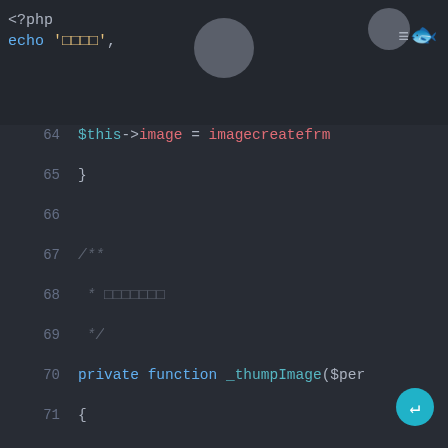[Figure (screenshot): PHP code editor screenshot showing a dark-themed code editor with line numbers 64-80, displaying a private function _thumpImage with PHP syntax highlighting]
<?php echo '□□□□';
64   $this->image = imagecreatefrm
65   }
66
67   /**
68    * □□□□□□□
69    */
70   private function _thumpImage($per
71   {
72       if ($percent > 1 && $percent
73           if ($this->imageinfo['hei
74               $percent = $percent /
75           } else {
76               $percent = $percent /
77           }
78       }
79       $ratio = $percent > 1 ? 1 : $
80       $new_width = $this->imageinfo